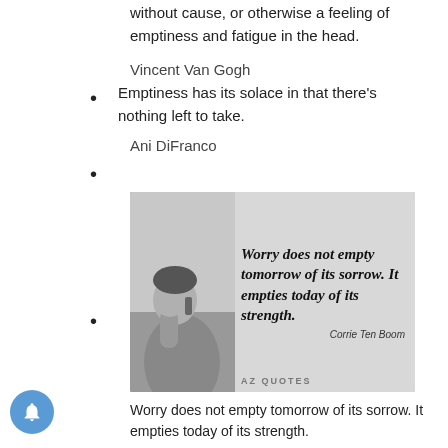without cause, or otherwise a feeling of emptiness and fatigue in the head.
Vincent Van Gogh
Emptiness has its solace in that there’s nothing left to take.
Ani DiFranco
[Figure (photo): Black and white photo of a man with his head in his hand next to a phone. The image contains a quote: 'Worry does not empty tomorrow of its sorrow. It empties today of its strength.' attributed to Corrie Ten Boom. AZ QUOTES watermark.]
Worry does not empty tomorrow of its sorrow. It empties today of its strength.